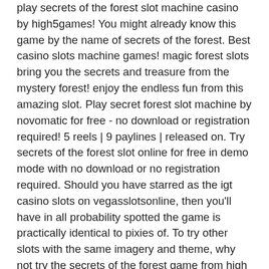play secrets of the forest slot machine casino by high5games! You might already know this game by the name of secrets of the forest. Best casino slots machine games! magic forest slots bring you the secrets and treasure from the mystery forest! enjoy the endless fun from this amazing slot. Play secret forest slot machine by novomatic for free - no download or registration required! 5 reels | 9 paylines | released on. Try secrets of the forest slot online for free in demo mode with no download or no registration required. Should you have starred as the igt casino slots on vegasslotsonline, then you'll have in all probability spotted the game is practically identical to pixies of. To try other slots with the same imagery and theme, why not try the secrets of the forest game from high 5 games. Secrets of the forest slots (play free slot machine game). As you make your way through the mysterious forest keep your eyes open for fairies, wild symbols